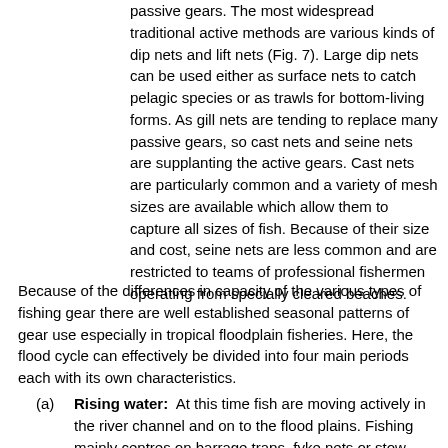passive gears. The most widespread traditional active methods are various kinds of dip nets and lift nets (Fig. 7). Large dip nets can be used either as surface nets to catch pelagic species or as trawls for bottom-living forms. As gill nets are tending to replace many passive gears, so cast nets and seine nets are supplanting the active gears. Cast nets are particularly common and a variety of mesh sizes are available which allow them to capture all sizes of fish. Because of their size and cost, seine nets are less common and are restricted to teams of professional fishermen operating from specially cleared beaches.
Because of the differences in capacity of the various types of fishing gear there are well established seasonal patterns of gear use especially in tropical floodplain fisheries. Here, the flood cycle can effectively be divided into four main periods each with its own characteristics.
(a)  Rising water:  At this time fish are moving actively in the river channel and on to the flood plains. Fishing mainly centres on barrage traps, fyke nets or stow nets installed in the main river channels and in the channels leading on to the flood plain. Gill nets are also used during rising water although they are vulnerable to current and to floating islands of vegetation. In some countries, for instance China, fry produced by spawning in the early flood are collected as they move onto the floodplain for stocking into